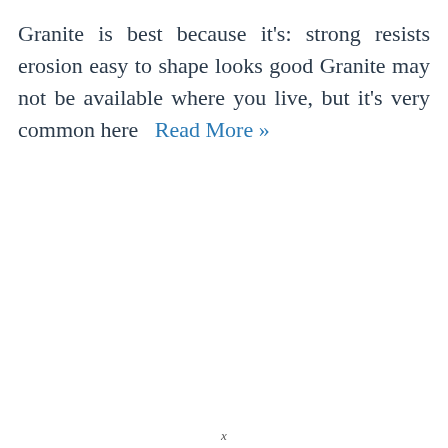Granite is best because it's: strong resists erosion easy to shape looks good Granite may not be available where you live, but it's very common here  Read More »
READ THE ANSWER »
x